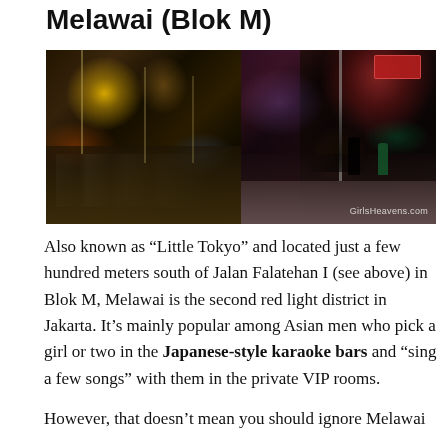Melawai (Blok M)
[Figure (photo): Two nighttime street photos of Melawai (Blok M) Jakarta. Left panel shows a busy street with cars and colorful lights at night. Right panel shows a sidewalk scene with neon-lit bars and people walking. Watermark reads GirlsHeavens.com]
Also known as “Little Tokyo” and located just a few hundred meters south of Jalan Falatehan I (see above) in Blok M, Melawai is the second red light district in Jakarta. It’s mainly popular among Asian men who pick a girl or two in the Japanese-style karaoke bars and “sing a few songs” with them in the private VIP rooms.
However, that doesn’t mean you should ignore Melawai